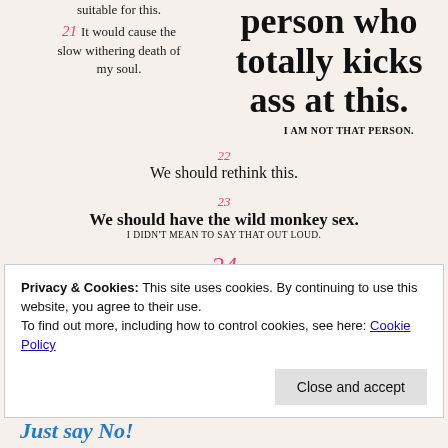suitable for this.
person who totally kicks ass at this.
21 It would cause the slow withering death of my soul.
I AM NOT THAT PERSON.
22 We should rethink this.
23 We should have the wild monkey sex. I DIDN'T MEAN TO SAY THAT OUT LOUD.
24 Shoot me now.
Privacy & Cookies: This site uses cookies. By continuing to use this website, you agree to their use. To find out more, including how to control cookies, see here: Cookie Policy
Close and accept
Just say No!